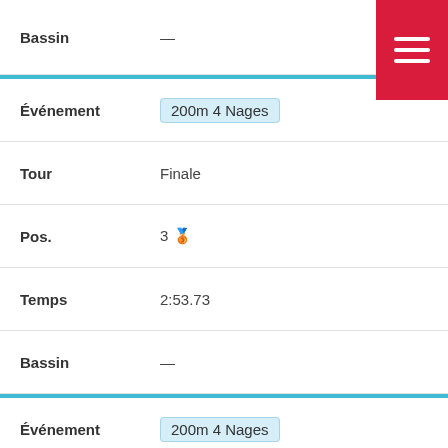| Field | Value |
| --- | --- |
| Bassin | — |
| Événement | 200m 4 Nages |
| Tour | Finale |
| Pos. | 3 🥉 |
| Temps | 2:53.73 |
| Bassin | — |
| Événement | 200m 4 Nages |
| Tour | Finale directe |
| Pos. | 3 🥉 |